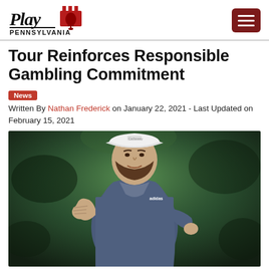Play Pennsylvania
Tour Reinforces Responsible Gambling Commitment
News
Written By Nathan Frederick on January 22, 2021 - Last Updated on February 15, 2021
[Figure (photo): A male golfer wearing a white cap, blue patterned polo shirt with Adidas logo, pumping his fist in celebration on a golf course. Dark green blurred background.]